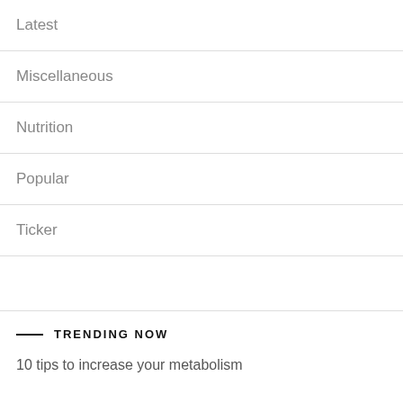Latest
Miscellaneous
Nutrition
Popular
Ticker
TRENDING NOW
10 tips to increase your metabolism